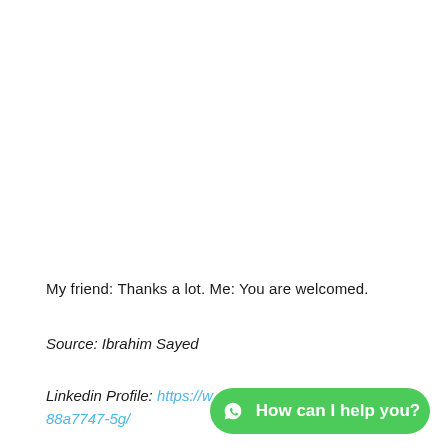My friend: Thanks a lot. Me: You are welcomed.
Source: Ibrahim Sayed
Linkedin Profile: https://w...88a7747-5g/
[Figure (other): WhatsApp floating button with text 'How can I help you?']